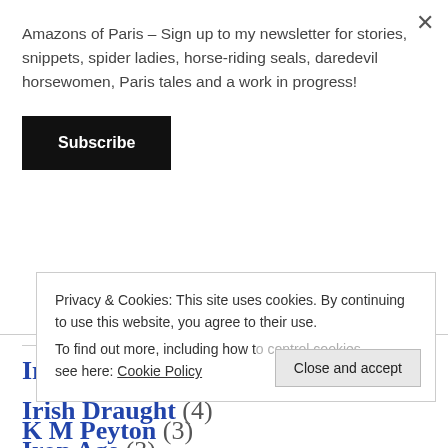Amazons of Paris – Sign up to my newsletter for stories, snippets, spider ladies, horse-riding seals, daredevil horsewomen, Paris tales and a work in progress!
Subscribe
Ireland (16)
Irish Draught (4)
Iron Age (3)
Privacy & Cookies: This site uses cookies. By continuing to use this website, you agree to their use.
To find out more, including how to control cookies, see here: Cookie Policy
Close and accept
K M Peyton (3)